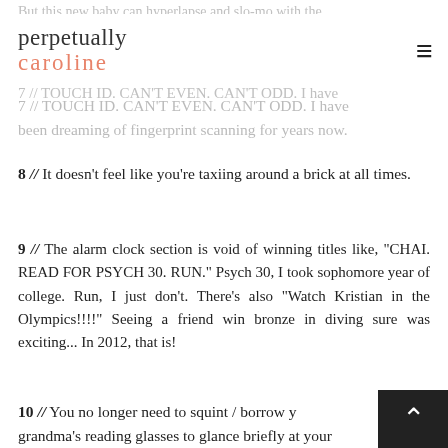perpetually caroline
But this new baby can hyperlapse and slo-mo with the...
7 // TOUCH ID. CAN'T EVEN. CAN'T ODD. I have been dreaming of fingerprint scanning for years now.
8 // It doesn't feel like you're taxiing around a brick at all times.
9 // The alarm clock section is void of winning titles like, "CHAI. READ FOR PSYCH 30. RUN." Psych 30, I took sophomore year of college. Run, I just don't. There's also "Watch Kristian in the Olympics!!!!" Seeing a friend win bronze in diving sure was exciting... In 2012, that is!
10 // You no longer need to squint / borrow your grandma's reading glasses to glance briefly at your...